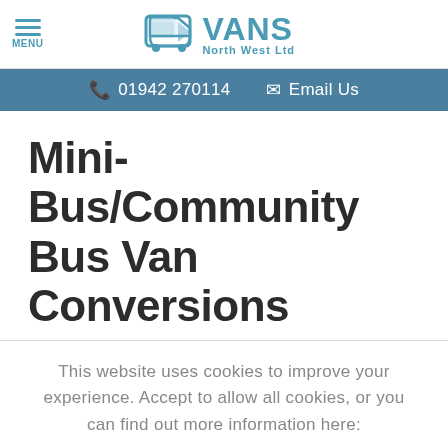MENU | VANS North West Ltd
01942 270114   Email Us
Mini-Bus/Community Bus Van Conversions
This website uses cookies to improve your experience. Accept to allow all cookies, or you can find out more information here:
Settings
Accept all cookies